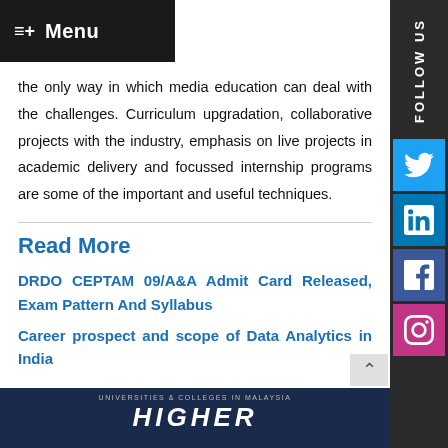Menu
the only way in which media education can deal with the challenges. Curriculum upgradation, collaborative projects with the industry, emphasis on live projects in academic delivery and focussed internship programs are some of the important and useful techniques.
Read More
DRDO CEPTAM 09/A&A Admit Card Released, Exam Pattern And Syllabus
Career prospect and scope of Data Analytics in India
[Figure (photo): Bottom strip showing universities and colleges in Malaysia header image with dark blue background and white bold italic text partially visible]